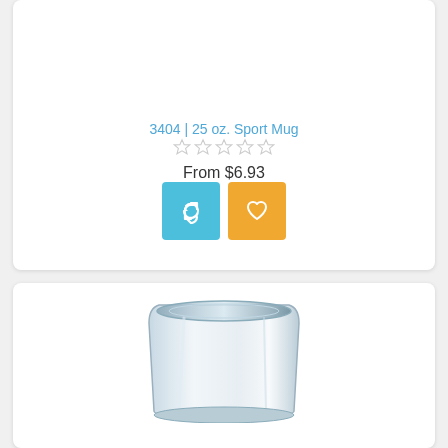3404 | 25 oz. Sport Mug
[Figure (other): Five empty star rating icons (no stars filled)]
From $6.93
[Figure (other): Two action buttons: a blue compare/refresh button and an orange wishlist/heart button]
[Figure (photo): Product image of a clear glass or plastic tumbler/stemless wine glass, partially cropped at bottom]